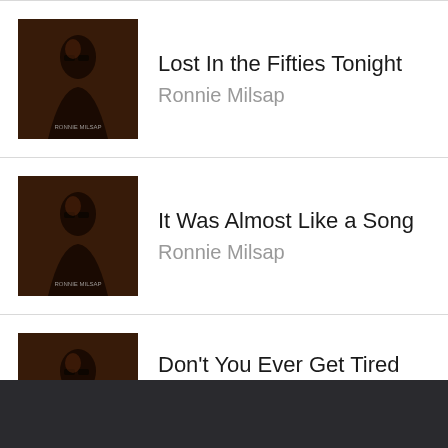Lost In the Fifties Tonight — Ronnie Milsap
It Was Almost Like a Song — Ronnie Milsap
Don't You Ever Get Tired (Of Hurting Me) — Ronnie Milsap